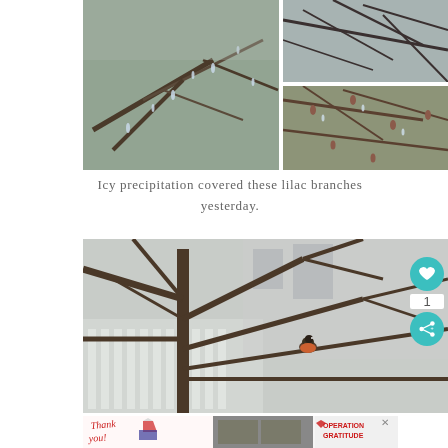[Figure (photo): Collage of three photos showing icy lilac branches with ice crystals and droplets hanging from them]
Icy precipitation covered these lilac branches yesterday.
[Figure (photo): Photo of bare tree branches with a robin perched on one branch, white picket fence visible in background, with social interaction buttons (heart, share) overlaid on right side]
[Figure (photo): Advertisement banner: Thank you with Operation Gratitude logo showing military personnel]